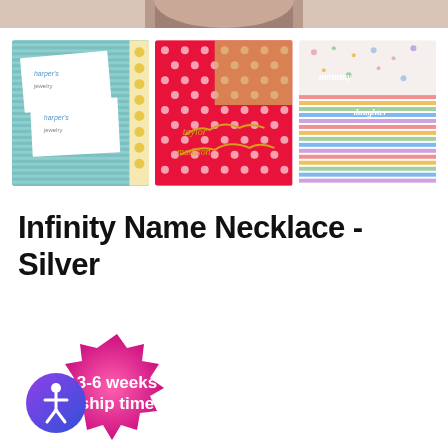[Figure (photo): Partial view of a person wearing a necklace, cropped at top of page]
[Figure (photo): Three product thumbnail images showing name necklaces: left - silver name necklaces on white cards with teal striped background, center - gold script name necklaces on red polka dot and gold background, right - script name necklaces on colorful striped pastel background]
Infinity Name Necklace - Silver
[Figure (infographic): Pink-to-magenta starburst/blob shaped badge with white bold text reading '3-6 weeks ship time']
[Figure (illustration): Blue circular accessibility icon button with person/wheelchair symbol]